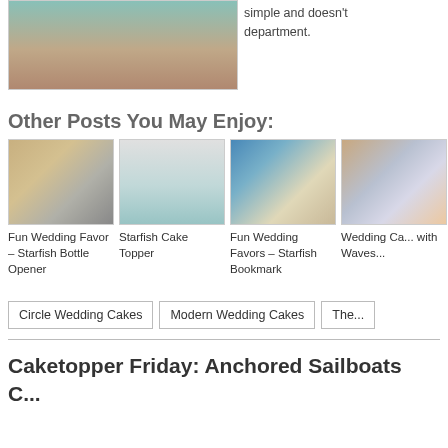[Figure (photo): Top portion of a beach-themed wedding cake image, partially cropped]
simple and doesn't department.
Other Posts You May Enjoy:
[Figure (photo): Fun Wedding Favor – Starfish Bottle Opener: silver starfish on sandy beach]
Fun Wedding Favor – Starfish Bottle Opener
[Figure (photo): Starfish Cake Topper: white starfish on teal icing]
Starfish Cake Topper
[Figure (photo): Fun Wedding Favors – Starfish Bookmark: starfish bookmark on sand]
Fun Wedding Favors – Starfish Bookmark
[Figure (photo): Wedding Cake with Waves: blue wave patterned tiered cake]
Wedding Ca... with Waves...
Circle Wedding Cakes
Modern Wedding Cakes
The...
Caketopper Friday: Anchored Sailboats C...